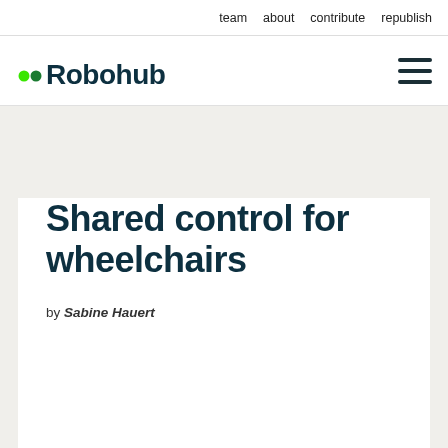team   about   contribute   republish
[Figure (logo): Robohub logo with two green dots and stylized dark teal text 'Robohub', plus a hamburger menu icon on the right]
Shared control for wheelchairs
by Sabine Hauert